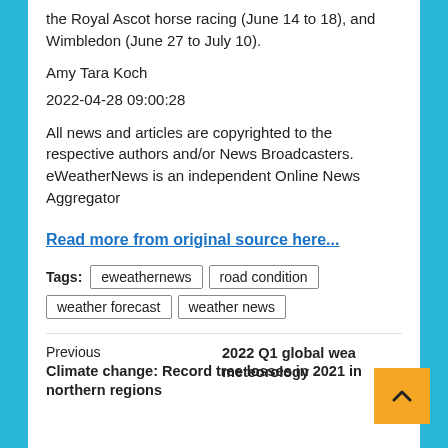the Royal Ascot horse racing (June 14 to 18), and Wimbledon (June 27 to July 10).
Amy Tara Koch
2022-04-28 09:00:28
All news and articles are copyrighted to the respective authors and/or News Broadcasters. eWeatherNews is an independent Online News Aggregator
Read more from original source here...
Tags: eweathernews  road condition  weather forecast  weather news
Previous
Climate change: Record tree losses in 2021 in northern regions
2022 Q1 global weather... meteorology